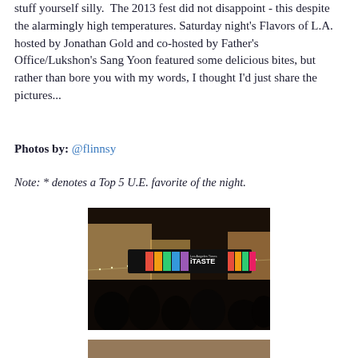stuff yourself silly.  The 2013 fest did not disappoint - this despite the alarmingly high temperatures. Saturday night's Flavors of L.A. hosted by Jonathan Gold and co-hosted by Father's Office/Lukshon's Sang Yoon featured some delicious bites, but rather than bore you with my words, I thought I'd just share the pictures...
Photos by: @flinnsy
Note: * denotes a Top 5 U.E. favorite of the night.
[Figure (photo): Nighttime outdoor food festival scene showing a banner reading 'Los Angeles Times iTASTE' with colorful graphics, string lights overhead, and a crowd of people below.]
[Figure (photo): Partially visible photo at bottom of page.]